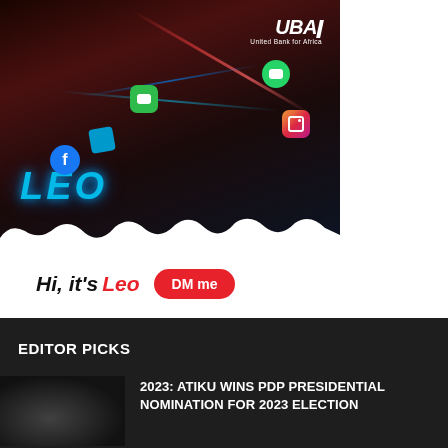[Figure (photo): UBA Leo advertisement banner showing a 3D animated character surrounded by social media icons (Facebook, Instagram, WhatsApp, iMessage), with glowing neon lighting effects and the UBA United Bank for Africa logo in the top right corner. Bottom shows 'Hi, it's Leo DM me' with a red button.]
EDITOR PICKS
[Figure (photo): Dark thumbnail image for a news article about 2023 Nigerian election]
2023: ATIKU WINS PDP PRESIDENTIAL NOMINATION FOR 2023 ELECTION